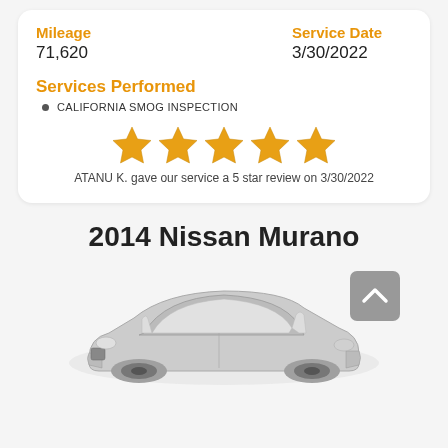Mileage
71,620
Service Date
3/30/2022
Services Performed
CALIFORNIA SMOG INSPECTION
[Figure (infographic): 5 gold/orange stars rating graphic]
ATANU K. gave our service a 5 star review on 3/30/2022
2014 Nissan Murano
[Figure (illustration): Grayscale illustration of a 2014 Nissan Murano SUV viewed from above-front angle, with a gray scroll-to-top button in the upper right]